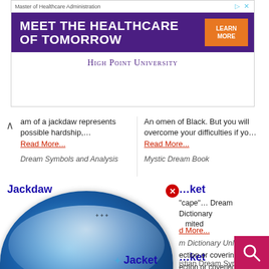[Figure (screenshot): Advertisement banner for High Point University Master of Healthcare Administration program with purple background and orange Learn More button]
am of a jackdaw represents possible hardship,...
Read More...
Dream Symbols and Analysis
An omen of Black. But you will overcome your difficulties if yo...
Read More...
Mystic Dream Book
Jackdaw
Jacket
Cons... th...
"cape"... Dream Dictionary mited
d More...
m Dictionary Unlimited
[Figure (illustration): Dream Encyclopedia globe logo showing Earth with sky and birds]
ket
ection or covering ...
istian Dream Symbols
ead More...
Christian Dream Symbols
Jacket